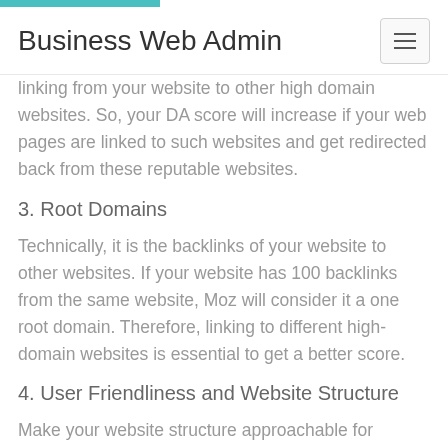Business Web Admin
linking from your website to other high domain websites. So, your DA score will increase if your web pages are linked to such websites and get redirected back from these reputable websites.
3. Root Domains
Technically, it is the backlinks of your website to other websites. If your website has 100 backlinks from the same website, Moz will consider it a one root domain. Therefore, linking to different high-domain websites is essential to get a better score.
4. User Friendliness and Website Structure
Make your website structure approachable for